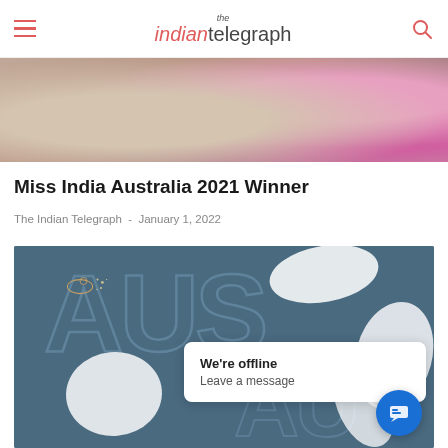the indian telegraph
[Figure (photo): Partial photo of a woman with flowers (pink blooms visible) at top of article]
Miss India Australia 2021 Winner
The Indian Telegraph  -  January 1, 2022
[Figure (photo): Dark blue background image showing Australia map outline with 'AUS' text and a small kangaroo logo, white silhouette shapes overlay]
We're offline
Leave a message